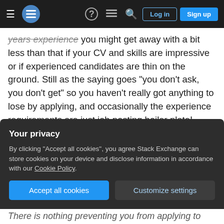Stack Exchange navigation bar with Log in and Sign up buttons
years experience you might get away with a bit less than that if your CV and skills are impressive or if experienced candidates are thin on the ground. Still as the saying goes "you don't ask, you don't get" so you haven't really got anything to lose by applying, and occasionally the experience requirements are just job posting boiler plate!
Share  Improve this answer  Follow  Add a comment  answered Aug 24, 2017 at 17:33  motosubatsu ♦  97.5k  49  266  341
Your privacy
By clicking "Accept all cookies", you agree Stack Exchange can store cookies on your device and disclose information in accordance with our Cookie Policy.
Accept all cookies  Customize settings
There is nothing preventing you from applying to